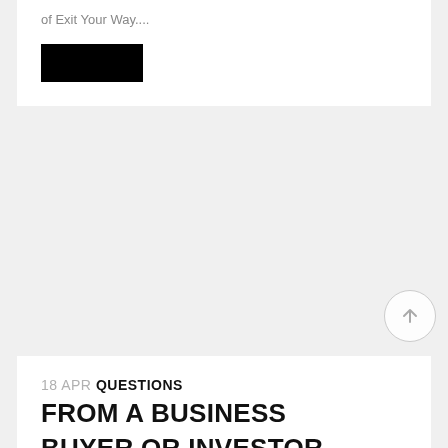of Exit Your Way....
[Figure (other): Black redacted/button rectangle]
18 APR QUESTIONS FROM A BUSINESS BUYER OR INVESTOR